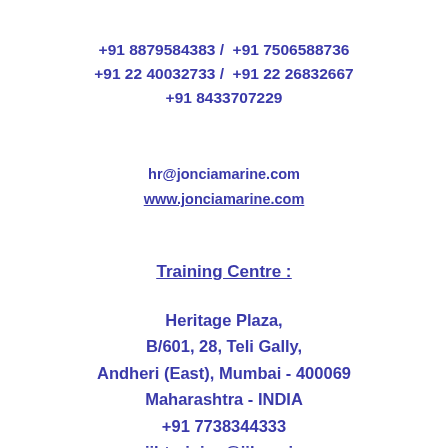+91 8879584383 /  +91 7506588736
+91 22 40032733 /  +91 22 26832667
+91 8433707229
hr@jonciamarine.com
www.jonciamarine.com
Training Centre :
Heritage Plaza,
B/601, 28, Teli Gally,
Andheri (East), Mumbai - 400069
Maharashtra - INDIA
+91 7738344333
jihtraining@jih.co.in